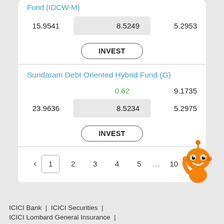Fund (IDCW-M)
|  | 8.5249 | 5.2953 |
| --- | --- | --- |
| 15.9541 | 8.5249 | 5.2953 |
INVEST
Sundaram Debt Oriented Hybrid Fund (G)
|  | 0.62 | 9.1735 |
| --- | --- | --- |
| 23.9636 | 8.5234 | 5.2975 |
INVEST
< 1 2 3 4 5 ... 10 >
ICICI Bank | ICICI Securities |
ICICI Lombard General Insurance |